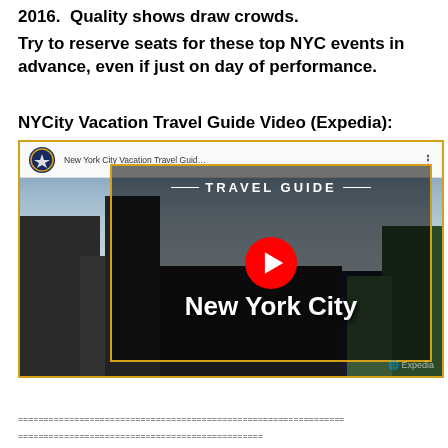2016.  Quality shows draw crowds.
Try to reserve seats for these top NYC events in advance, even if just on day of performance.
NYCity Vacation Travel Guide Video (Expedia):
[Figure (screenshot): YouTube video thumbnail for 'New York City Vacation Travel Guide...' (Expedia) showing NYC skyline with 'TRAVEL GUIDE New York City' overlay and YouTube play button in center.]
================================================================
================================================